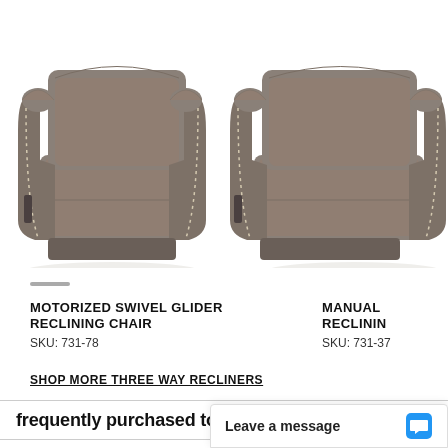[Figure (photo): Gray upholstered motorized swivel glider reclining chair with nailhead trim detail on arms, left product image]
[Figure (photo): Gray upholstered manual reclining chair with nailhead trim detail on arms, right product image (partially cropped)]
MOTORIZED SWIVEL GLIDER RECLINING CHAIR
SKU: 731-78
MANUAL RECLININ
SKU: 731-37
SHOP MORE THREE WAY RECLINERS
frequently purchased together
Leave a message